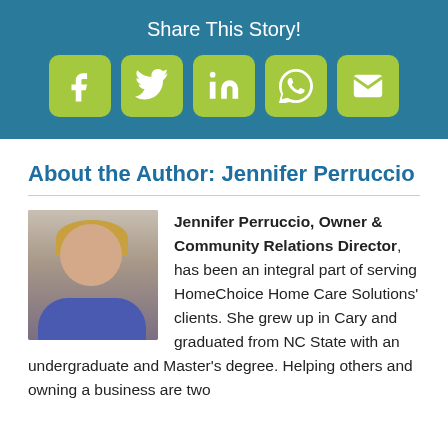Share This Story!
[Figure (infographic): Social share buttons: Facebook, Twitter, LinkedIn, WhatsApp, Email — each as a yellow-green rounded square icon on a teal background]
About the Author: Jennifer Perruccio
[Figure (photo): Headshot photo of Jennifer Perruccio, a woman with short blonde hair wearing a blue top]
Jennifer Perruccio, Owner & Community Relations Director, has been an integral part of serving HomeChoice Home Care Solutions' clients. She grew up in Cary and graduated from NC State with an undergraduate and Master's degree. Helping others and owning a business are two